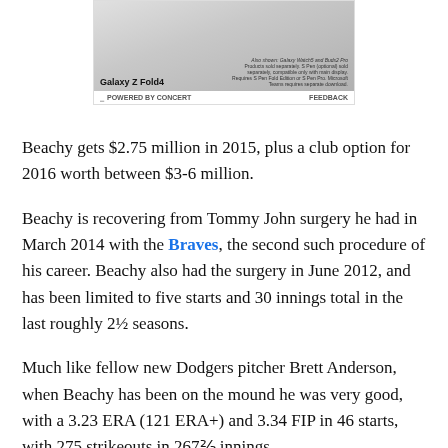[Figure (advertisement): Samsung Galaxy Z Fold4 advertisement showing product images of smartphone, smartwatch, earbuds and stylus. Powered by Concert footer with Feedback link.]
Beachy gets $2.75 million in 2015, plus a club option for 2016 worth between $3-6 million.
Beachy is recovering from Tommy John surgery he had in March 2014 with the Braves, the second such procedure of his career. Beachy also had the surgery in June 2012, and has been limited to five starts and 30 innings total in the last roughly 2½ seasons.
Much like fellow new Dodgers pitcher Brett Anderson, when Beachy has been on the mound he was very good, with a 3.23 ERA (121 ERA+) and 3.34 FIP in 46 starts, with 275 strikeouts in 267⅔ innings.